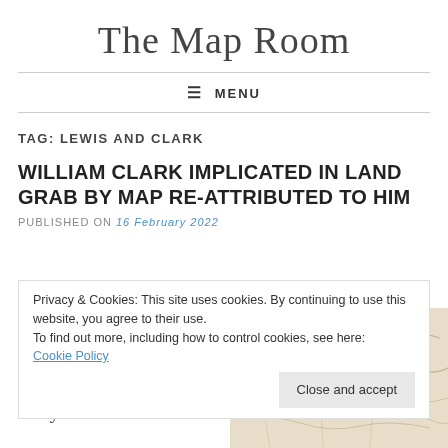The Map Room
≡ MENU
TAG: LEWIS AND CLARK
WILLIAM CLARK IMPLICATED IN LAND GRAB BY MAP RE-ATTRIBUTED TO HIM
PUBLISHED ON 16 February 2022
Privacy & Cookies: This site uses cookies. By continuing to use this website, you agree to their use. To find out more, including how to control cookies, see here: Cookie Policy
Close and accept
A new historical study reattributes